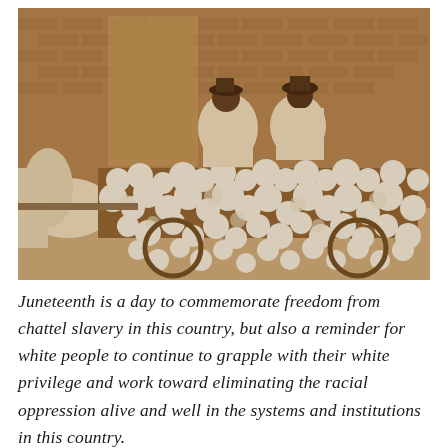[Figure (photo): A sepia-toned historical photograph showing two women dressed in white sitting on a horse-drawn carriage or float decorated heavily with white flowers (roses/carnations). A white horse is visible on the left side. A brick building is in the background. The photo appears to be from the early 20th century, likely depicting a Juneteenth or similar celebration parade float.]
Juneteenth is a day to commemorate freedom from chattel slavery in this country, but also a reminder for white people to continue to grapple with their white privilege and work toward eliminating the racial oppression alive and well in the systems and institutions in this country.